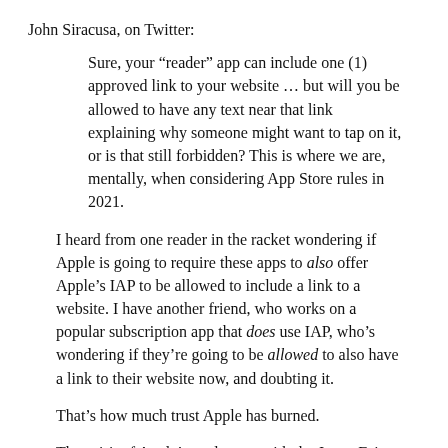John Siracusa, on Twitter:
Sure, your “reader” app can include one (1) approved link to your website … but will you be allowed to have any text near that link explaining why someone might want to tap on it, or is that still forbidden? This is where we are, mentally, when considering App Store rules in 2021.
I heard from one reader in the racket wondering if Apple is going to require these apps to also offer Apple’s IAP to be allowed to include a link to a website. I have another friend, who works on a popular subscription app that does use IAP, who’s wondering if they’re going to be allowed to also have a link to their website now, and doubting it.
That’s how much trust Apple has burned.
The spirit of Apple’s settlement with the Japan Fair Trade Commission is clear: these “reader” apps are going to be permitted to link users to their websites for signing up and buying media like e-books, movies, and music. Within that spirit, of course they’re going to be allowed to have text explaining this, and of course they’re not going to be